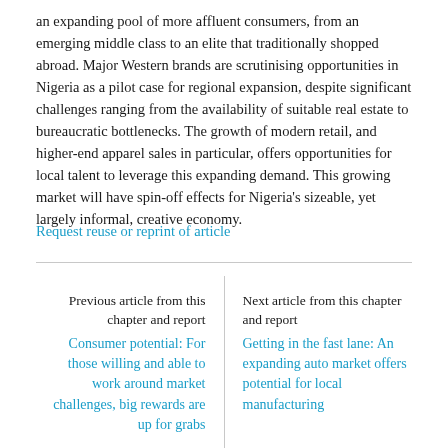an expanding pool of more affluent consumers, from an emerging middle class to an elite that traditionally shopped abroad. Major Western brands are scrutinising opportunities in Nigeria as a pilot case for regional expansion, despite significant challenges ranging from the availability of suitable real estate to bureaucratic bottlenecks. The growth of modern retail, and higher-end apparel sales in particular, offers opportunities for local talent to leverage this expanding demand. This growing market will have spin-off effects for Nigeria's sizeable, yet largely informal, creative economy.
Request reuse or reprint of article
Previous article from this chapter and report
Consumer potential: For those willing and able to work around market challenges, big rewards are up for grabs
Next article from this chapter and report
Getting in the fast lane: An expanding auto market offers potential for local manufacturing